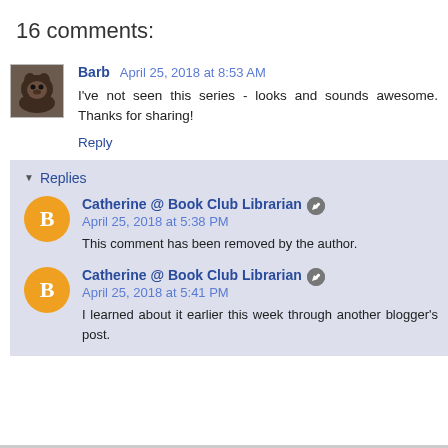16 comments:
Barb  April 25, 2018 at 8:53 AM
I've not seen this series - looks and sounds awesome. Thanks for sharing!
Reply
Replies
Catherine @ Book Club Librarian  April 25, 2018 at 5:38 PM
This comment has been removed by the author.
Catherine @ Book Club Librarian  April 25, 2018 at 5:41 PM
I learned about it earlier this week through another blogger's post.